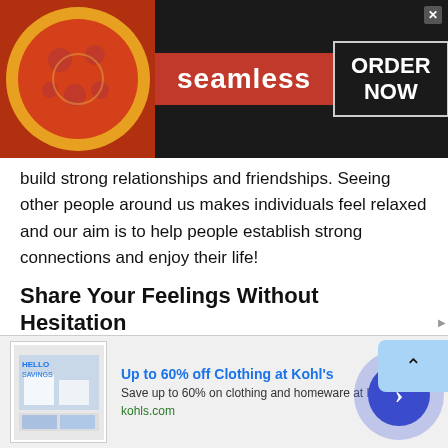[Figure (screenshot): Seamless food delivery advertisement banner with pizza image on left, red 'seamless' badge in center, and 'ORDER NOW' box on right, dark background, with close X button]
build strong relationships and friendships. Seeing other people around us makes individuals feel relaxed and our aim is to help people establish strong connections and enjoy their life!
Share Your Feelings Without Hesitation
One thing most of us struggle with is sharing our feelings with our loved ones. At certain times we cannot express our feelings with people close to us either because we are shy, or because they are unavailable. Under such
[Figure (screenshot): Kohl's advertisement: 'Up to 60% off Clothing at Kohl's' with store image thumbnail, subtitle 'Save up to 60% on clothing and homeware at Kohl's.com', URL 'kohls.com', blue circular arrow button on right, close button]